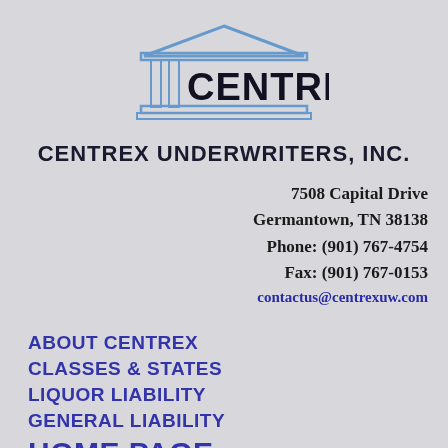[Figure (logo): Centrex logo: a classical temple/columned building above the word CENTREX in bold serif font]
CENTREX UNDERWRITERS, INC.
7508 Capital Drive
Germantown, TN 38138
Phone: (901) 767-4754
Fax: (901) 767-0153
contactus@centrexuw.com
ABOUT CENTREX
CLASSES & STATES
LIQUOR LIABILITY
GENERAL LIABILITY
HOME PAGE
APPLICATIONS
OUR CARRIERS